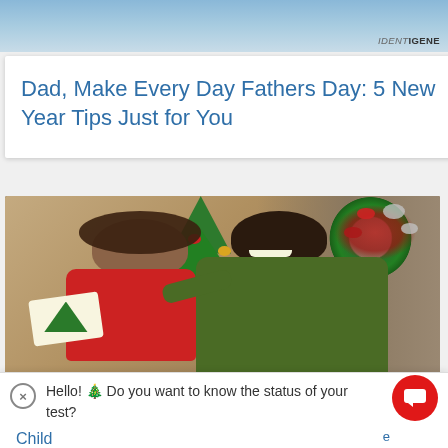[Figure (photo): Partial banner image with blue sky and IDENTIGENE watermark logo at top right]
Dad, Make Every Day Fathers Day: 5 New Year Tips Just for You
[Figure (photo): A smiling Black man and a smiling mixed-race child with curly hair, both seated at a table with Christmas decorations in the background (Christmas tree, red wreath with ornaments). The child holds a handmade Christmas card with a tree drawing. IDENTIGENE watermark in bottom right.]
Hello! 🎄 Do you want to know the status of your test?
e